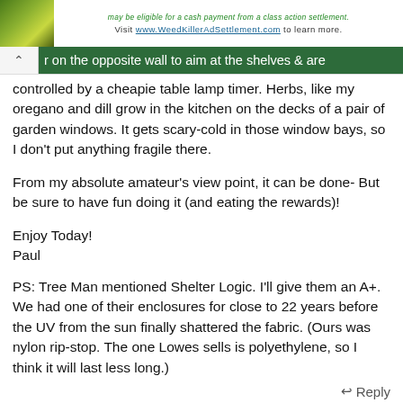[Figure (other): Ad banner with green plant image on left and text: 'may be eligible for a cash payment from a class action settlement. Visit www.WeedKillerAdSettlement.com to learn more.']
r on the opposite wall to aim at the shelves & are
controlled by a cheapie table lamp timer. Herbs, like my oregano and dill grow in the kitchen on the decks of a pair of garden windows. It gets scary-cold in those window bays, so I don't put anything fragile there.
From my absolute amateur's view point, it can be done- But be sure to have fun doing it (and eating the rewards)!
Enjoy Today!
Paul
PS: Tree Man mentioned Shelter Logic. I'll give them an A+. We had one of their enclosures for close to 22 years before the UV from the sun finally shattered the fabric. (Ours was nylon rip-stop. The one Lowes sells is polyethylene, so I think it will last less long.)
Reply